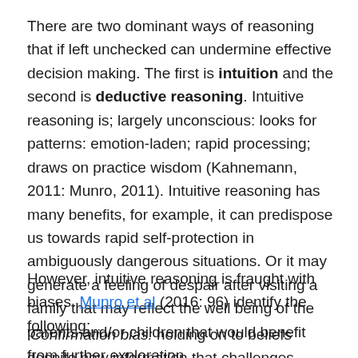There are two dominant ways of reasoning that if left unchecked can undermine effective decision making. The first is intuition and the second is deductive reasoning. Intuitive reasoning is; largely unconscious: looks for patterns: emotion-laden; rapid processing; draws on practice wisdom (Kahnemann, 2011: Munro, 2011). Intuitive reasoning has many benefits, for example, it can predispose us towards rapid self-protection in ambiguously dangerous situations. Or it may generate a feeling of despair after visiting a family that may reflect the well being of the parents and/or children that would benefit from further exploration.
However, intuitive reasoning is fraught with biases. Munro et al (2016: 96) identify the following:
'Confirmation bias: holding on to beliefs despite new information that challenges them. First impressions bias: the...